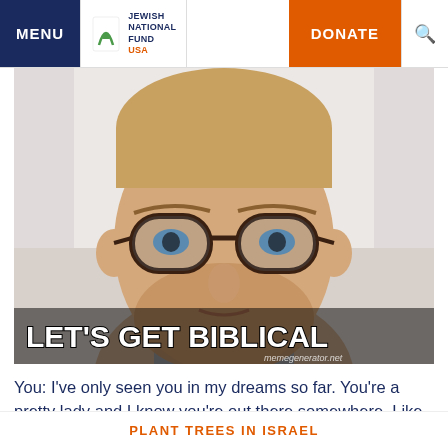MENU | JEWISH NATIONAL FUND USA | DONATE
[Figure (photo): Man with glasses and beard - 'LET'S GET BIBLICAL' meme image with memegenerator.net watermark]
You: I've only seen you in my dreams so far. You're a pretty lady and I know you're out there somewhere. Like me, you're a date palm. You're also a scientific miracle, and exclusive, if you know what I mean. If we got together, our offspring would make worldwide
PLANT TREES IN ISRAEL